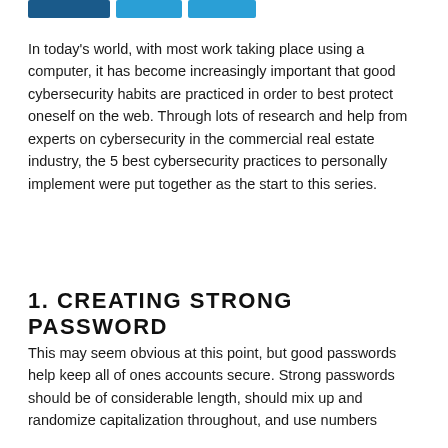[Figure (other): Three blue social share or navigation buttons at the top of the page]
In today's world, with most work taking place using a computer, it has become increasingly important that good cybersecurity habits are practiced in order to best protect oneself on the web. Through lots of research and help from experts on cybersecurity in the commercial real estate industry, the 5 best cybersecurity practices to personally implement were put together as the start to this series.
1. CREATING STRONG PASSWORD
This may seem obvious at this point, but good passwords help keep all of ones accounts secure. Strong passwords should be of considerable length, should mix up and randomize capitalization throughout, and use numbers